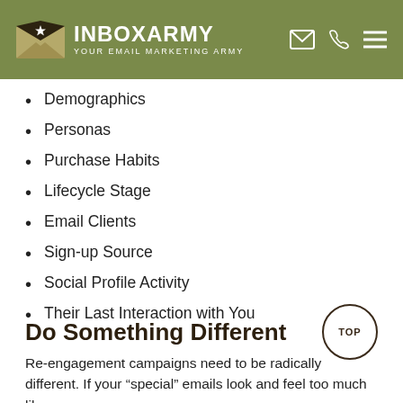InboxArmy — Your Email Marketing Army
Demographics
Personas
Purchase Habits
Lifecycle Stage
Email Clients
Sign-up Source
Social Profile Activity
Their Last Interaction with You
Do Something Different
Re-engagement campaigns need to be radically different. If your “special” emails look and feel too much like your regular ones, they’re not likely to help at all.